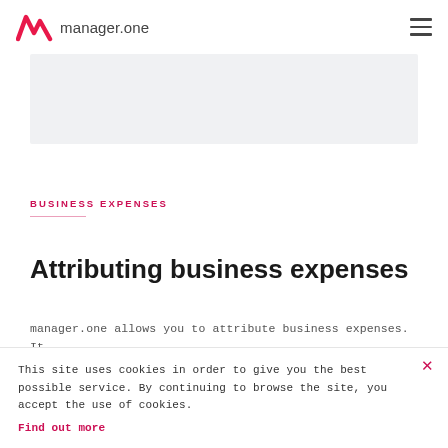manager.one
[Figure (other): Gray banner image strip]
BUSINESS EXPENSES
Attributing business expenses
manager.one allows you to attribute business expenses. It
This site uses cookies in order to give you the best possible service. By continuing to browse the site, you accept the use of cookies. Find out more